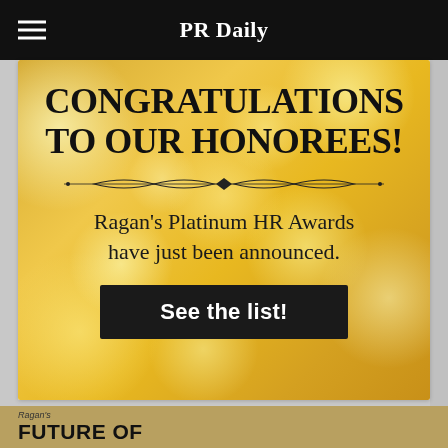PR Daily
[Figure (illustration): Gold bokeh banner advertisement with text: CONGRATULATIONS TO OUR HONOREES! Ragan's Platinum HR Awards have just been announced. See the list! (dark button)]
FUTURE OF COMMUNICATIONS